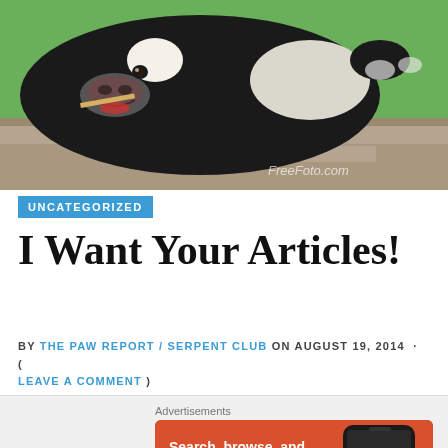[Figure (photo): A black and white dairy cow resting its head on a stone wall, with green grass visible in the background. A watermark reads 'FreeFoto.com' in the lower right.]
UNCATEGORIZED
I Want Your Articles!
BY THE PAW REPORT / SERPENT CLUB ON AUGUST 19, 2014 · ( LEAVE A COMMENT )
[Figure (screenshot): DuckDuckGo advertisement banner with orange background. Text reads 'Search, browse, and email with more privacy. All in One Free App' with DuckDuckGo duck logo and a phone mockup.]